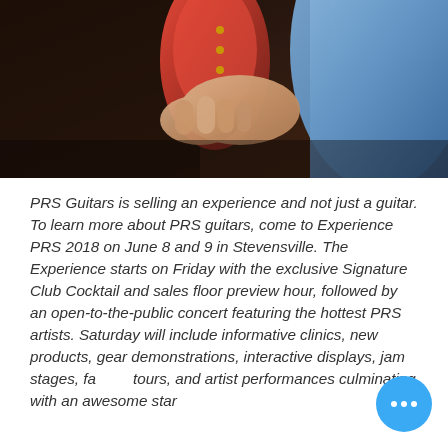[Figure (photo): Close-up photo of a person holding a red electric guitar. A hand gripping the guitar body is visible along with a blue sleeve/jacket. Dark brown background.]
PRS Guitars is selling an experience and not just a guitar. To learn more about PRS guitars, come to Experience PRS 2018 on June 8 and 9 in Stevensville. The Experience starts on Friday with the exclusive Signature Club Cocktail and sales floor preview hour, followed by an open-to-the-public concert featuring the hottest PRS artists. Saturday will include informative clinics, new products, gear demonstrations, interactive displays, jam stages, factory tours, and artist performances culminating with an awesome star...